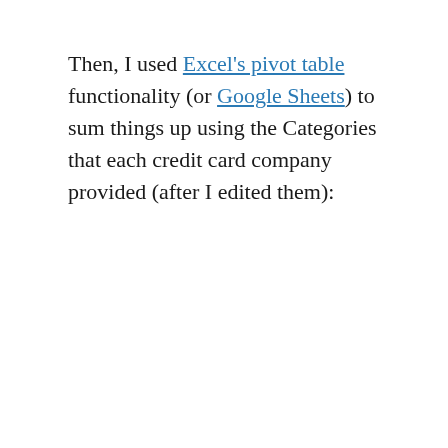Then, I used Excel's pivot table functionality (or Google Sheets) to sum things up using the Categories that each credit card company provided (after I edited them):